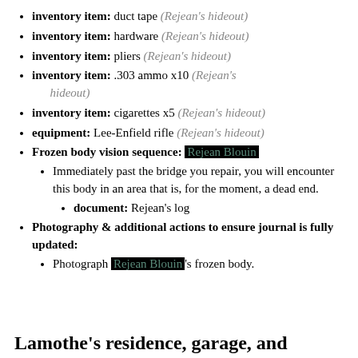inventory item: duct tape (Rejean's hideout)
inventory item: hardware (Rejean's hideout)
inventory item: pliers (Rejean's hideout)
inventory item: .303 ammo x10 (Rejean's hideout)
inventory item: cigarettes x5 (Rejean's hideout)
equipment: Lee-Enfield rifle (Rejean's hideout)
Frozen body vision sequence: Rejean Blouin
Immediately past the bridge you repair, you will encounter this body in an area that is, for the moment, a dead end.
document: Rejean's log
Photography & additional actions to ensure journal is fully updated:
Photograph Rejean Blouin's frozen body.
Lamothe's residence, garage, and